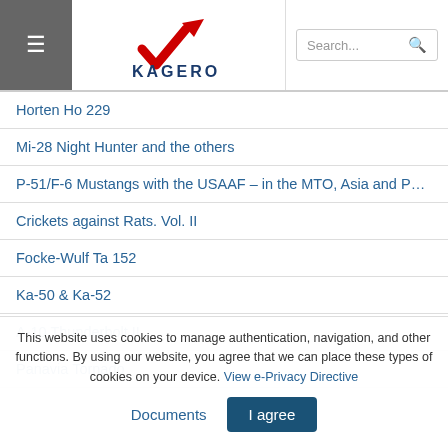Kagero website header with menu button, logo, and search bar
Horten Ho 229
Mi-28 Night Hunter and the others
P-51/F-6 Mustangs with the USAAF – in the MTO, Asia and Pacific
Crickets against Rats. Vol. II
Focke-Wulf Ta 152
Ka-50 & Ka-52
A-10 Thunderbolt II
Panavia Tornado
This website uses cookies to manage authentication, navigation, and other functions. By using our website, you agree that we can place these types of cookies on your device. View e-Privacy Directive Documents  I agree